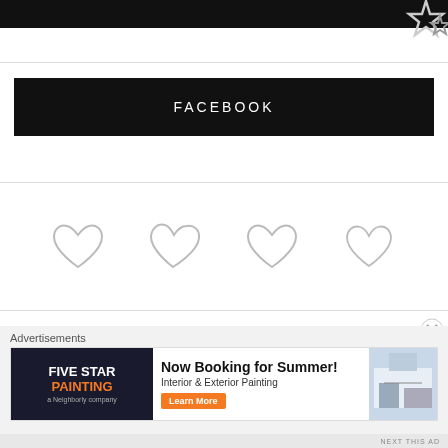[Figure (illustration): Black banner at top with star decorations on upper right]
[Figure (illustration): Black Facebook button with white text 'FACEBOOK']
[Figure (illustration): Four heart outline icons in a row, silver/gray colored]
[Figure (illustration): Close/dismiss button (X in circle) overlapping ad area]
Advertisements
[Figure (illustration): Five Star Painting advertisement - Now Booking for Summer! Interior & Exterior Painting. Learn More button.]